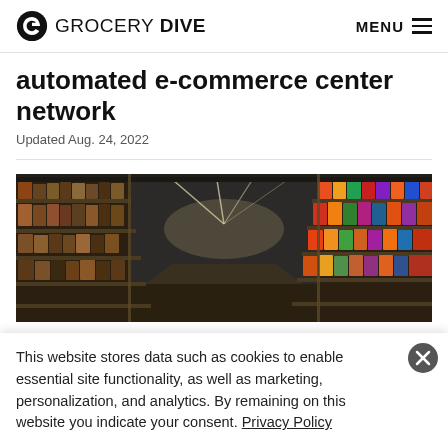GROCERY DIVE  MENU
automated e-commerce center network
Updated Aug. 24, 2022
[Figure (photo): Interior of a grocery store aisle with shelves stocked with colorful packaged goods on both sides, ceiling industrial lighting visible above.]
This website stores data such as cookies to enable essential site functionality, as well as marketing, personalization, and analytics. By remaining on this website you indicate your consent. Privacy Policy